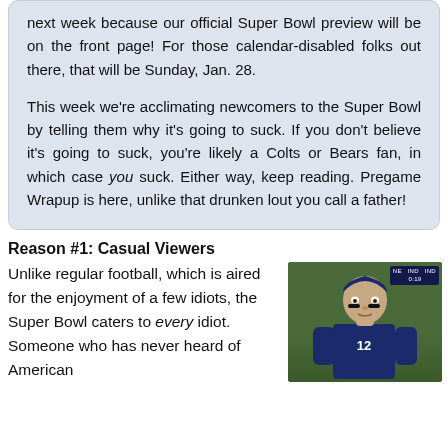next week because our official Super Bowl preview will be on the front page! For those calendar-disabled folks out there, that will be Sunday, Jan. 28.

This week we're acclimating newcomers to the Super Bowl by telling them why it's going to suck. If you don't believe it's going to suck, you're likely a Colts or Bears fan, in which case you suck. Either way, keep reading. Pregame Wrapup is here, unlike that drunken lout you call a father!
Reason #1: Casual Viewers
Unlike regular football, which is aired for the enjoyment of a few idiots, the Super Bowl caters to every idiot. Someone who has never heard of American
[Figure (photo): Photo of a football player (quarterback with eye black) on a green field, with a scoreboard overlay in the top right corner showing NE vs IND score.]